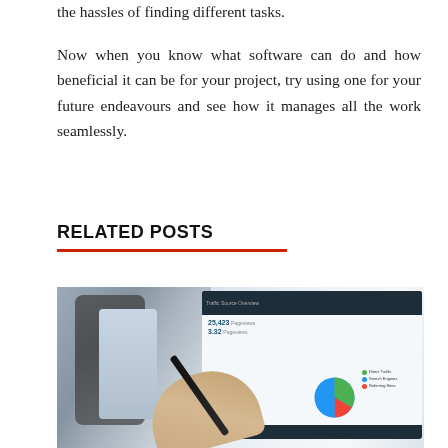the hassles of finding different tasks.
Now when you know what software can do and how beneficial it can be for your project, try using one for your future endeavours and see how it manages all the work seamlessly.
RELATED POSTS
[Figure (photo): Photo of a hand holding a stylus pointing at a tablet screen showing analytics dashboard with pie chart and statistics, alongside a smartphone]